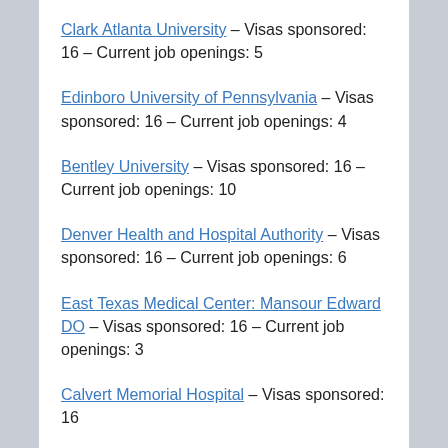Clark Atlanta University – Visas sponsored: 16 – Current job openings: 5
Edinboro University of Pennsylvania – Visas sponsored: 16 – Current job openings: 4
Bentley University – Visas sponsored: 16 – Current job openings: 10
Denver Health and Hospital Authority – Visas sponsored: 16 – Current job openings: 6
East Texas Medical Center: Mansour Edward DO – Visas sponsored: 16 – Current job openings: 3
Calvert Memorial Hospital – Visas sponsored: 16